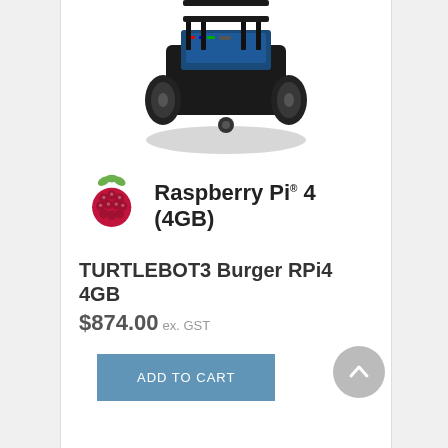[Figure (photo): TurtleBot3 Burger robot with Raspberry Pi 4 setup, photographed from above-front angle showing wheels and electronics]
[Figure (logo): Raspberry Pi logo (red raspberry with green leaves) next to text 'Raspberry Pi 4 (4GB)']
TURTLEBOT3 Burger RPi4 4GB
$874.00 ex. GST
ADD TO CART
[Figure (logo): TURTLEBOT3 logo in green and black bold stylized text]
Waffle Pi